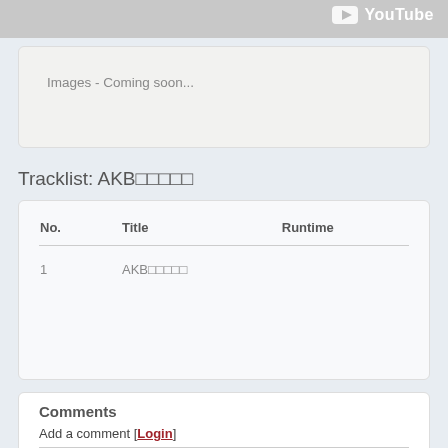[Figure (logo): YouTube logo with play button in top right corner of gray bar]
Images - Coming soon...
Tracklist: AKB□□□□□
| No. | Title | Runtime |
| --- | --- | --- |
| 1 | AKB□□□□□ |  |
Comments
Add a comment [Login]